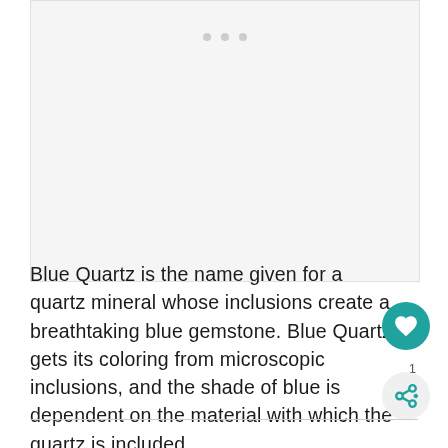[Figure (photo): Image placeholder with three dots indicating a loading or carousel image area for Blue Quartz gemstone]
Blue Quartz is the name given for a quartz mineral whose inclusions create a breathtaking blue gemstone. Blue Quartz gets its coloring from microscopic inclusions, and the shade of blue is dependent on the material with which the quartz is included.